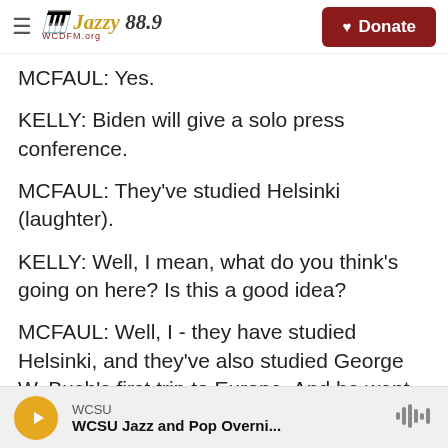Jazzy 88.9 | WCSU FM — Donate
MCFAUL: Yes.
KELLY: Biden will give a solo press conference.
MCFAUL: They've studied Helsinki (laughter).
KELLY: Well, I mean, what do you think's going on here? Is this a good idea?
MCFAUL: Well, I - they have studied Helsinki, and they've also studied George W. Bush's first trip to Europe. And he went to Slovenia to meet with President Putin, and he made a mistake in that meeting. I can't remember exactly, but he said - on
WCSU — WCSU Jazz and Pop Overni...